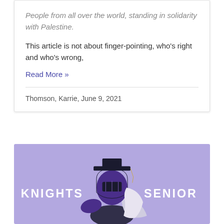People from all over the world, standing in solidarity with Palestine.
This article is not about finger-pointing, who's right and who's wrong,
Read More »
Thomson, Karrie, June 9, 2021
[Figure (illustration): Purple background with a knight mascot wearing a graduation cap. Text reads 'KNIGHTS SENIOR' on either side of the knight figure.]